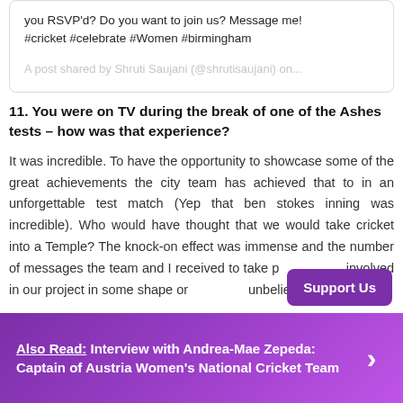you RSVP'd? Do you want to join us? Message me!
#cricket #celebrate #Women #birmingham
A post shared by Shruti Saujani (@shrutisaujani) on...
11. You were on TV during the break of one of the Ashes tests – how was that experience?
It was incredible. To have the opportunity to showcase some of the great achievements the city team has achieved that to in an unforgettable test match (Yep that ben stokes inning was incredible). Who would have thought that we would take cricket into a Temple? The knock-on effect was immense and the number of messages the team and I received to take part and get involved in our project in some shape or form was unbelievable.
Also Read:  Interview with Andrea-Mae Zepeda: Captain of Austria Women's National Cricket Team